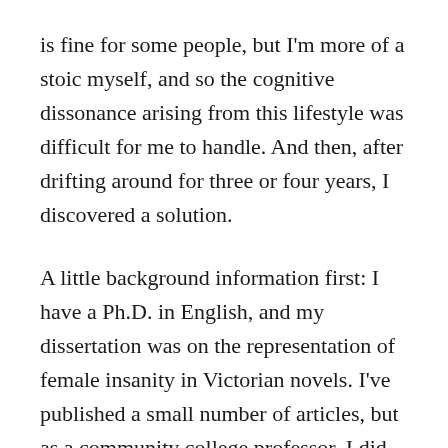is fine for some people, but I'm more of a stoic myself, and so the cognitive dissonance arising from this lifestyle was difficult for me to handle. And then, after drifting around for three or four years, I discovered a solution.
A little background information first: I have a Ph.D. in English, and my dissertation was on the representation of female insanity in Victorian novels. I've published a small number of articles, but as a community college professor, I did not have the kind of academic career that rewarded research. (I should say I tried to throw myself into academic research as a means of finding my ikigai, to no avail. I wrote about that experience here.) As a professor, I taught freshman English, as well as